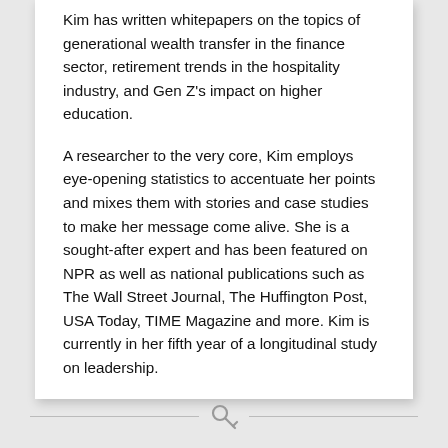Kim has written whitepapers on the topics of generational wealth transfer in the finance sector, retirement trends in the hospitality industry, and Gen Z's impact on higher education.
A researcher to the very core, Kim employs eye-opening statistics to accentuate her points and mixes them with stories and case studies to make her message come alive. She is a sought-after expert and has been featured on NPR as well as national publications such as The Wall Street Journal, The Huffington Post, USA Today, TIME Magazine and more. Kim is currently in her fifth year of a longitudinal study on leadership.